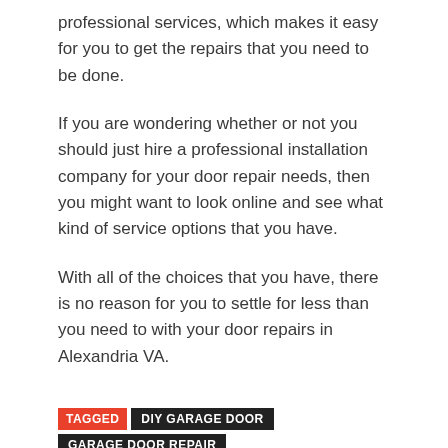professional services, which makes it easy for you to get the repairs that you need to be done.
If you are wondering whether or not you should just hire a professional installation company for your door repair needs, then you might want to look online and see what kind of service options that you have.
With all of the choices that you have, there is no reason for you to settle for less than you need to with your door repairs in Alexandria VA.
TAGGED  DIY GARAGE DOOR  GARAGE DOOR REPAIR  GARAGE DOOR SERVICE
RELATED POSTS